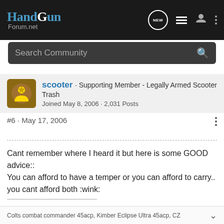HandGun Forum.net
Search Community
scooter · Supporting Member - Legally Armed Scooter Trash
Joined May 8, 2006 · 2,031 Posts
#6 · May 17, 2006
Cant remember where I heard it but here is some GOOD advice::
You can afford to have a temper or you can afford to carry.. you cant afford both :wink:
Colts combat commander 45acp, Kimber Eclipse Ultra 45acp, CZ